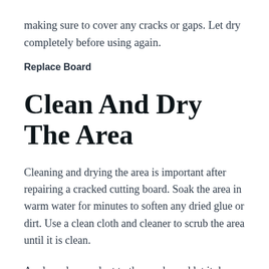making sure to cover any cracks or gaps. Let dry completely before using again.
Replace Board
Clean And Dry The Area
Cleaning and drying the area is important after repairing a cracked cutting board. Soak the area in warm water for minutes to soften any dried glue or dirt. Use a clean cloth and cleaner to scrub the area until it is clean.
Apply a clear sealant to the cracks and let it dry for at least hours. Be careful not to use too much